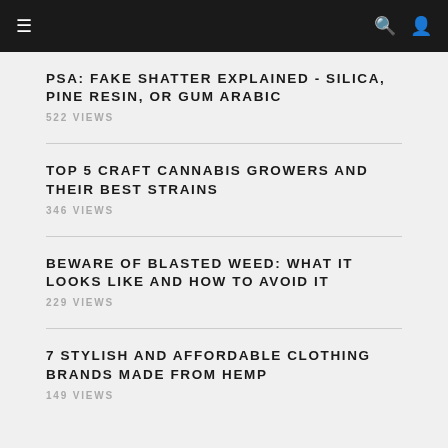☰  🔍 👤
PSA: FAKE SHATTER EXPLAINED - SILICA, PINE RESIN, OR GUM ARABIC
522 VIEWS
TOP 5 CRAFT CANNABIS GROWERS AND THEIR BEST STRAINS
346 VIEWS
BEWARE OF BLASTED WEED: WHAT IT LOOKS LIKE AND HOW TO AVOID IT
229 VIEWS
7 STYLISH AND AFFORDABLE CLOTHING BRANDS MADE FROM HEMP
149 VIEWS